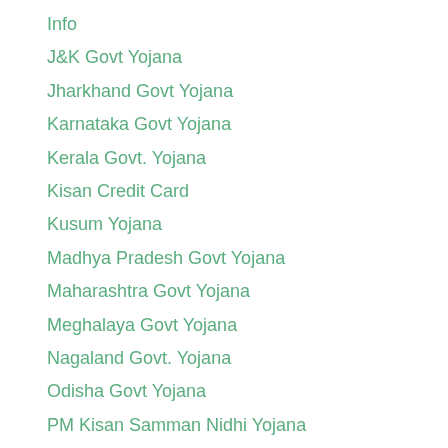Info
J&K Govt Yojana
Jharkhand Govt Yojana
Karnataka Govt Yojana
Kerala Govt. Yojana
Kisan Credit Card
Kusum Yojana
Madhya Pradesh Govt Yojana
Maharashtra Govt Yojana
Meghalaya Govt Yojana
Nagaland Govt. Yojana
Odisha Govt Yojana
PM Kisan Samman Nidhi Yojana
Pradhan Mantri Yojana
Punjab Govt Yojana